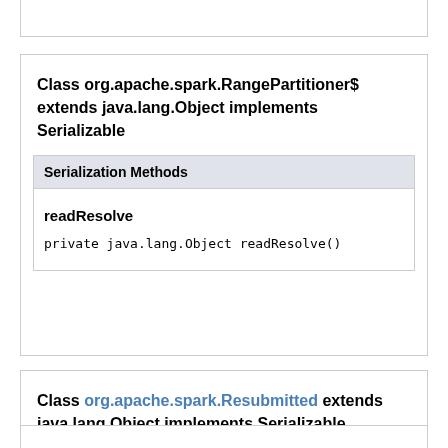Class org.apache.spark.RangePartitioner$ extends java.lang.Object implements Serializable
Serialization Methods
readResolve
private java.lang.Object readResolve()
Class org.apache.spark.Resubmitted extends java.lang.Object implements Serializable